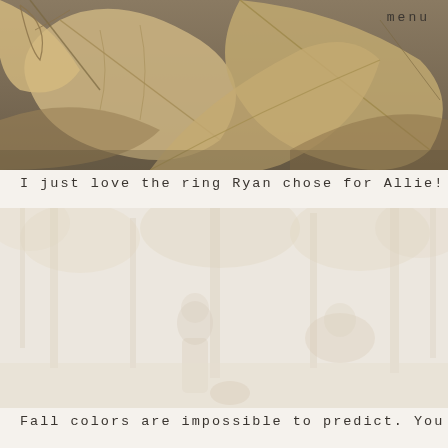[Figure (photo): Close-up photo of dried autumn leaves in muted brown and tan tones on a wooden surface, with a 'menu' label in the top right corner.]
I just love the ring Ryan chose for Allie!
[Figure (photo): Faded, very light outdoor photo of a couple in a wooded fall setting with autumn foliage, rendered in extremely washed-out pale tones.]
Fall colors are impossible to predict. You never know